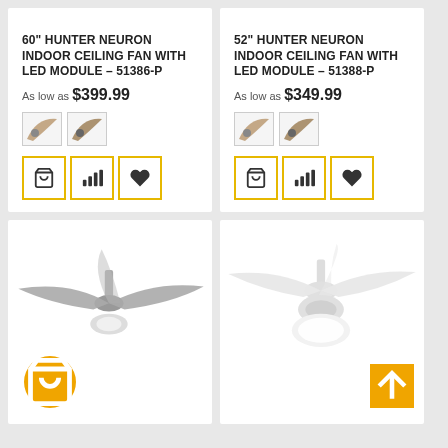[Figure (photo): 60 inch Hunter Neuron ceiling fan product card with blades, thumbnails, and action buttons]
60" HUNTER NEURON INDOOR CEILING FAN WITH LED MODULE – 51386-P
As low as $399.99
[Figure (photo): 52 inch Hunter Neuron ceiling fan product card with blades, thumbnails, and action buttons]
52" HUNTER NEURON INDOOR CEILING FAN WITH LED MODULE – 51388-P
As low as $349.99
[Figure (photo): Bottom left ceiling fan product card with orange shopping cart button]
[Figure (photo): Bottom right ceiling fan product card with orange scroll-to-top button]